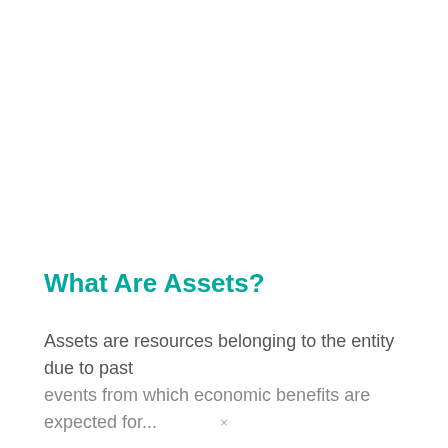What Are Assets?
Assets are resources belonging to the entity due to past events from which economic benefits are expected for...
×